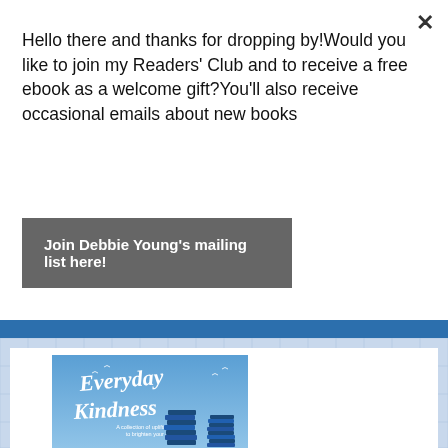Hello there and thanks for dropping by!Would you like to join my Readers' Club and to receive a free ebook as a welcome gift?You'll also receive occasional emails about new books
Join Debbie Young's mailing list here!
[Figure (illustration): Book cover for 'Everyday Kindness - A collection of uplifting tales to brighten your day', showing a blue sky background with stacked books and script handwriting title]